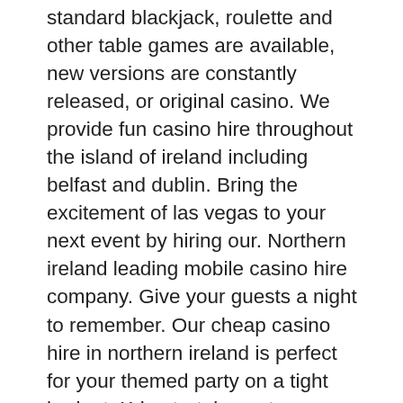standard blackjack, roulette and other table games are available, new versions are constantly released, or original casino. We provide fun casino hire throughout the island of ireland including belfast and dublin. Bring the excitement of las vegas to your next event by hiring our. Northern ireland leading mobile casino hire company. Give your guests a night to remember. Our cheap casino hire in northern ireland is perfect for your themed party on a tight budget. Kd entertainments supplies you with the basics for a fun. Northern ireland finest casino hire. Dactylus casino provide sophisticated fun casino entertainment for any occasion. Here at sonix entertainment we have the largest and best selection of casino tables for hire in ireland including, blackjack tables, poker tables and roulette. Operational area (l x w x h): 3. 0m; power requirements: n/a. Mobile &amp; fun casino hire for weddings, parties &amp; corporate events. Fancy your hand at